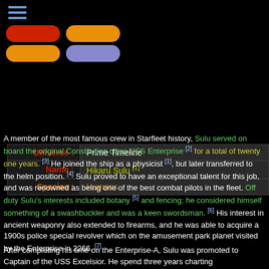[Figure (infographic): Three horizontal menu lines in blue-grey color at top left]
[Figure (infographic): Four pill/capsule shaped buttons: red, orange (top row), orange, purple (bottom row)]
| Label | Value |
| --- | --- |
| Universe : | Prime Timeline |
| Name : | Hikaru Sulu [1] |
| Species : | Humans |
A member of the most famous crew in Starfleet history, Sulu served on board the original Constitution class USS Enterprise [2] for a total of twenty one years. [3] He joined the ship as a physicist [1], but later transferred to the helm position. [4] Sulu proved to have an exceptional talent for this job, and was renowned as being one of the best combat pilots in the fleet. Off duty Sulu's interests included botany [5] and fencing; he considered himself something of a swashbuckler and was a keen swordsman. [6] His interest in ancient weaponry also extended to firearms, and he was able to acquire a 1900s police special revolver which on the amusement park planet visited by the Enterprise in 2266. [7]
After completing his time on the Enterprise-A, Sulu was promoted to Captain of the USS Excelsior. He spend three years charting